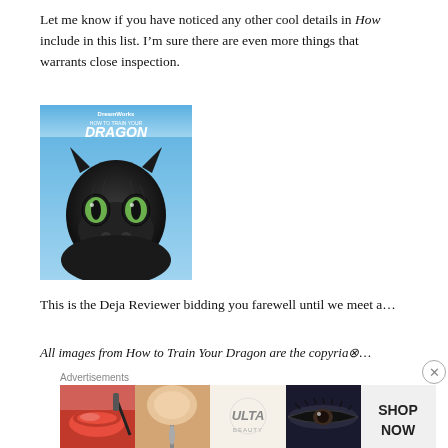Let me know if you have noticed any other cool details in How to Train Your Dragon that I didn’t include in this list. I’m sure there are even more things that warrants close inspection.
[Figure (photo): DreamWorks How to Train Your Dragon movie poster/cover showing Toothless the black dragon with green eyes against a blue background with the title text.]
This is the Deja Reviewer bidding you farewell until we meet a…
All images from How to Train Your Dragon are the copyria…
[Figure (photo): Ulta Beauty advertisement banner showing makeup/cosmetics images with SHOP NOW text.]